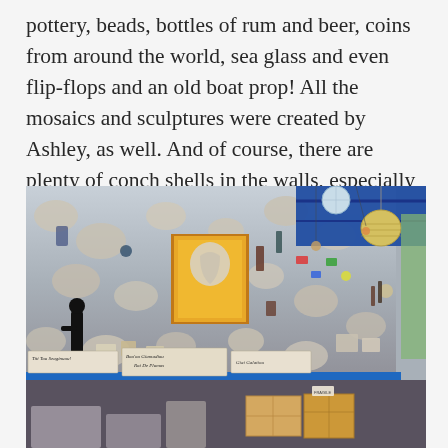pottery, beads, bottles of rum and beer, coins from around the world, sea glass and even flip-flops and an old boat prop! All the mosaics and sculptures were created by Ashley, as well. And of course, there are plenty of conch shells in the walls, especially in the corners, for reinforcement! This is a hurricane-proof house!
[Figure (photo): Interior photo of a mosaic wall decorated with shells, bottles, pottery, figurines, signs with handwritten text, an orange box/artwork in the center, a blue ceiling structure with hanging decorations including a disco ball and woven lamp, a blue shelf bar running across the lower portion, and cardboard boxes below.]